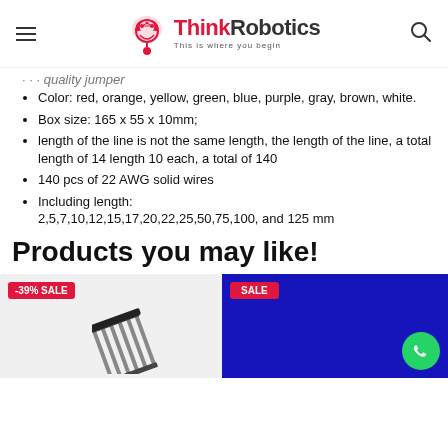ThinkRobotics — This is where you begin
Pro quality jumper
Color: red, orange, yellow, green, blue, purple, gray, brown, white.
Box size: 165 x 55 x 10mm;
length of the line is not the same length, the length of the line, a total length of 14 length 10 each, a total of 140
140 pcs of 22 AWG solid wires
Including length: 2,5,7,10,12,15,17,20,22,25,50,75,100, and 125 mm
Products you may like!
[Figure (photo): Product card with -39% SALE badge and pin header image]
[Figure (photo): Product card with SALE badge on blue background with WhatsApp button]